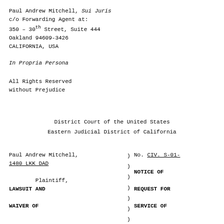Paul Andrew Mitchell, Sui Juris
c/o Forwarding Agent at:
350 - 30th Street, Suite 444
Oakland 94609-3426
CALIFORNIA, USA
In Propria Persona
All Rights Reserved
without Prejudice
District Court of the United States
Eastern Judicial District of California
Paul Andrew Mitchell,
1480 LKK DAD

        Plaintiff,
) No. CIV. S-01-
)
) NOTICE OF LAWSUIT AND
) REQUEST FOR WAIVER OF
) SERVICE OF